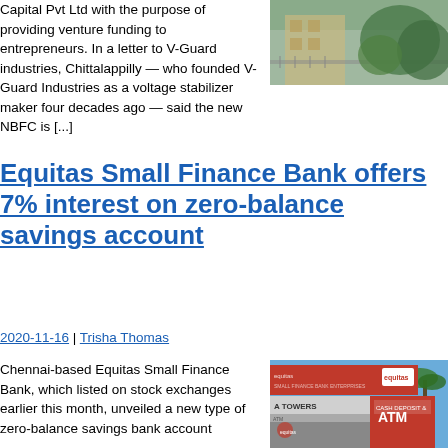Capital Pvt Ltd with the purpose of providing venture funding to entrepreneurs. In a letter to V-Guard industries, Chittalappilly — who founded V-Guard Industries as a voltage stabilizer maker four decades ago — said the new NBFC is [...]
[Figure (photo): Photo of a building exterior, partially visible behind foliage]
Equitas Small Finance Bank offers 7% interest on zero-balance savings account
2020-11-16 | Trisha Thomas
Chennai-based Equitas Small Finance Bank, which listed on stock exchanges earlier this month, unveiled a new type of zero-balance savings bank account
[Figure (photo): Photo of Equitas Small Finance Bank ATM signage with red banners]